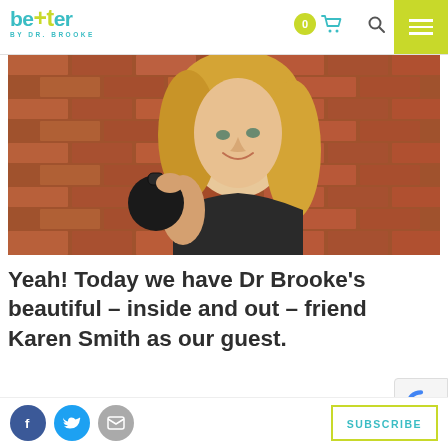better BY DR. BROOKE
[Figure (photo): Blonde woman smiling, holding a kettlebell in front of a brick wall, wearing a black sports top]
Yeah! Today we have Dr Brooke's beautiful – inside and out – friend Karen Smith as our guest.
Karen is a sought after kettle bell
SUBSCRIBE